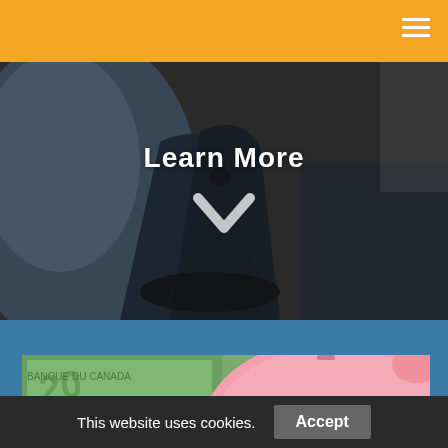[Figure (photo): Close-up photo of a car gear shift/handbrake area with dark interior, overlaid with 'Learn More' text and a white chevron/down-arrow icon]
[Figure (photo): Photo of Canadian money (green $20 bills with Bank of Canada text), coins, and a pink piggy bank on a blue background]
This website uses cookies.
Accept